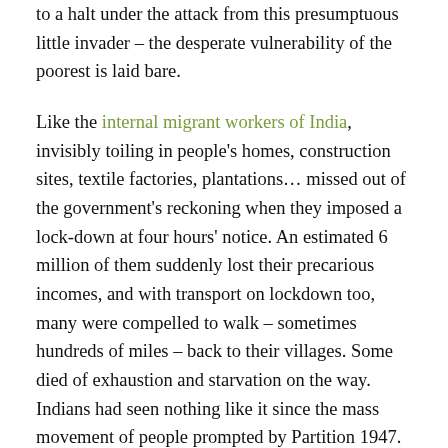to a halt under the attack from this presumptuous little invader – the desperate vulnerability of the poorest is laid bare.
Like the internal migrant workers of India, invisibly toiling in people's homes, construction sites, textile factories, plantations… missed out of the government's reckoning when they imposed a lock-down at four hours' notice. An estimated 6 million of them suddenly lost their precarious incomes, and with transport on lockdown too, many were compelled to walk – sometimes hundreds of miles – back to their villages. Some died of exhaustion and starvation on the way. Indians had seen nothing like it since the mass movement of people prompted by Partition 1947.
Of course, the focus of this blog is normally on tea plantation workers, and here again vulnerability is laid bare. The World Health